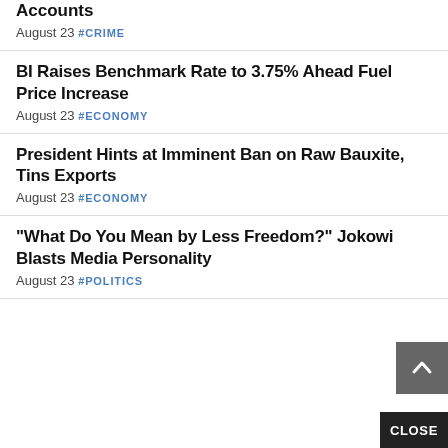Accounts
August 23 #CRIME
BI Raises Benchmark Rate to 3.75% Ahead Fuel Price Increase
August 23 #ECONOMY
President Hints at Imminent Ban on Raw Bauxite, Tins Exports
August 23 #ECONOMY
“What Do You Mean by Less Freedom?” Jokowi Blasts Media Personality
August 23 #POLITICS